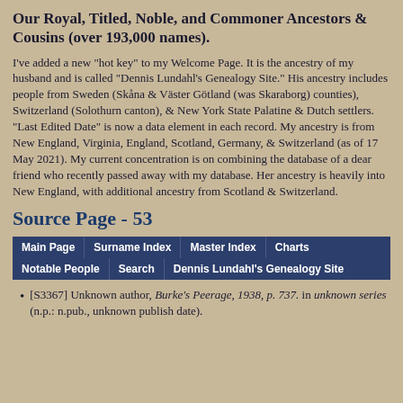Our Royal, Titled, Noble, and Commoner Ancestors & Cousins (over 193,000 names).
I've added a new "hot key" to my Welcome Page. It is the ancestry of my husband and is called "Dennis Lundahl's Genealogy Site." His ancestry includes people from Sweden (Skåna & Väster Götland (was Skaraborg) counties), Switzerland (Solothurn canton), & New York State Palatine & Dutch settlers. "Last Edited Date" is now a data element in each record. My ancestry is from New England, Virginia, England, Scotland, Germany, & Switzerland (as of 17 May 2021). My current concentration is on combining the database of a dear friend who recently passed away with my database. Her ancestry is heavily into New England, with additional ancestry from Scotland & Switzerland.
Source Page - 53
Main Page | Surname Index | Master Index | Charts | Notable People | Search | Dennis Lundahl's Genealogy Site
[S3367] Unknown author, Burke's Peerage, 1938, p. 737. in unknown series (n.p.: n.pub., unknown publish date).